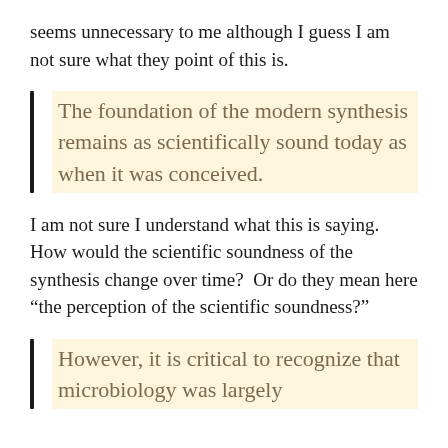seems unnecessary to me although I guess I am not sure what they point of this is.
The foundation of the modern synthesis remains as scientifically sound today as when it was conceived.
I am not sure I understand what this is saying.  How would the scientific soundness of the synthesis change over time?  Or do they mean here “the perception of the scientific soundness?”
However, it is critical to recognize that microbiology was largely